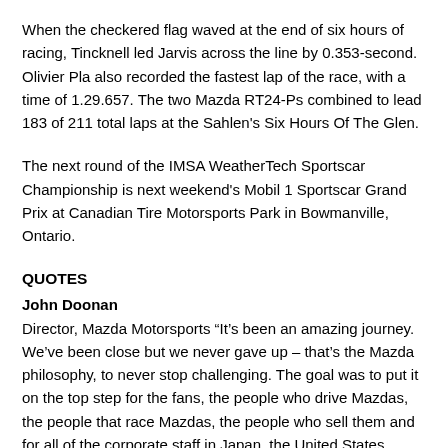When the checkered flag waved at the end of six hours of racing, Tincknell led Jarvis across the line by 0.353-second. Olivier Pla also recorded the fastest lap of the race, with a time of 1.29.657. The two Mazda RT24-Ps combined to lead 183 of 211 total laps at the Sahlen's Six Hours Of The Glen.
The next round of the IMSA WeatherTech Sportscar Championship is next weekend's Mobil 1 Sportscar Grand Prix at Canadian Tire Motorsports Park in Bowmanville, Ontario.
QUOTES
John Doonan
Director, Mazda Motorsports “It’s been an amazing journey. We’ve been close but we never gave up – that’s the Mazda philosophy, to never stop challenging. The goal was to put it on the top step for the fans, the people who drive Mazdas, the people that race Mazdas, the people who sell them and for all of the corporate staff in Japan, the United States, Europe and the rest of the world. This is the day we’ve been waiting for. We really felt that today could be our day, so we would focus on racing the other cars and not each other. But in that last half-hour, you listen to every click on the radio worried that something would come. To see that